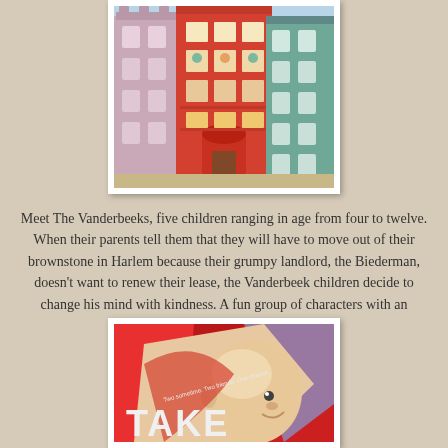[Figure (illustration): Book cover illustration showing colorful brownstone apartment buildings in Harlem with characters visible in windows. Pink, red, and teal buildings side by side.]
Meet The Vanderbeeks, five children ranging in age from four to twelve. When their parents tell them that they will have to move out of their brownstone in Harlem because their grumpy landlord, the Biederman, doesn't want to renew their lease, the Vanderbeek children decide to change his mind with kindness. A fun group of characters with an important problem to solve.
[Figure (illustration): Book cover showing a retro-style illustration with a bald character and bold red background. The word TAKE is visible at the bottom in large letters.]